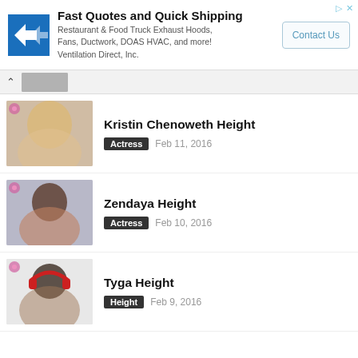[Figure (infographic): Advertisement banner: logo with blue arrow icon, text 'Fast Quotes and Quick Shipping - Restaurant & Food Truck Exhaust Hoods, Fans, Ductwork, DOAS HVAC, and more! Ventilation Direct, Inc.' with a 'Contact Us' button]
[Figure (photo): Navigation row with chevron up icon and a thumbnail image]
[Figure (photo): Photo of Kristin Chenoweth, blonde woman]
Kristin Chenoweth Height
Actress   Feb 11, 2016
[Figure (photo): Photo of Zendaya, young woman with dark hair]
Zendaya Height
Actress   Feb 10, 2016
[Figure (photo): Photo of Tyga, man with red headphones]
Tyga Height
Height   Feb 9, 2016